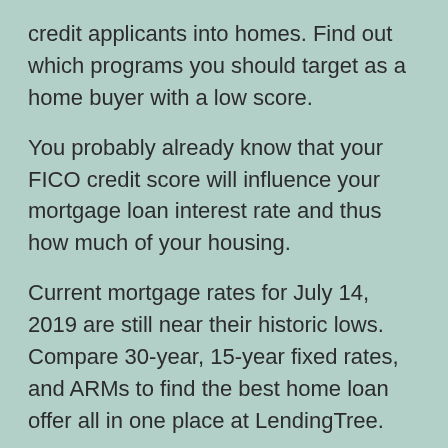credit applicants into homes. Find out which programs you should target as a home buyer with a low score.
You probably already know that your FICO credit score will influence your mortgage loan interest rate and thus how much of your housing.
Current mortgage rates for July 14, 2019 are still near their historic lows. Compare 30-year, 15-year fixed rates, and ARMs to find the best home loan offer all in one place at LendingTree.
Cons Published mortgage rates include up to three points of prepaid interest. Doesn't consider alternative credit data. It just looks at credit scores and debt-to-income ratios, the way most.